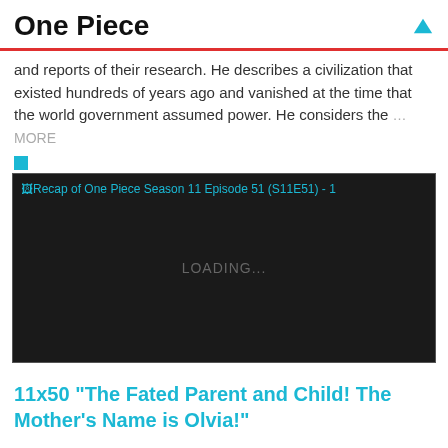One Piece
and reports of their research. He describes a civilization that existed hundreds of years ago and vanished at the time that the world government assumed power. He considers the ... MORE
[Figure (screenshot): Video player loading screen with dark background showing 'LOADING...' text and alt text 'Recap of One Piece Season 11 Episode 51 (S11E51) - 1']
11x50 "The Fated Parent and Child! The Mother's Name is Olvia!"